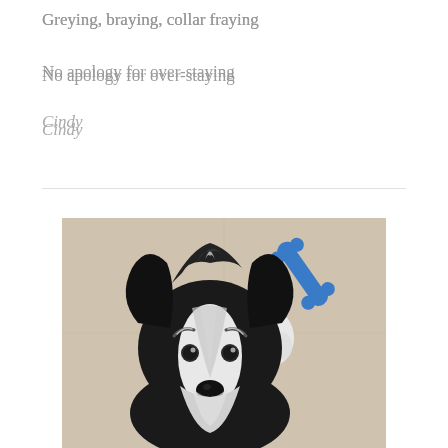Greying, braying, collar fraying
No apology for over-staying
Cindy
[Figure (photo): A black and white scruffy terrier mix dog looking up at the camera from a light tile floor, with a blue rubber bone toy visible in the upper right corner of the image.]